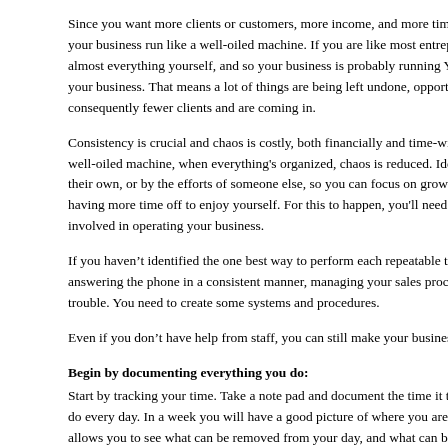Since you want more clients or customers, more income, and more time off, you need your business run like a well-oiled machine. If you are like most entrepreneurs, you are doing almost everything yourself, and so your business is probably running YOU, instead of you running your business. That means a lot of things are being left undone, opportunities are being missed, and consequently fewer clients and are coming in.
Consistency is crucial and chaos is costly, both financially and time-wise. When running like a well-oiled machine, when everything's organized, chaos is reduced. Ideally, things happen on their own, or by the efforts of someone else, so you can focus on growing your business and having more time off to enjoy yourself. For this to happen, you'll need to systematize tasks involved in operating your business.
If you haven't identified the one best way to perform each repeatable task in your business, answering the phone in a consistent manner, managing your sales process, etc. – you're in trouble. You need to create some systems and procedures.
Even if you don't have help from staff, you can still make your business ru
Begin by documenting everything you do:
Start by tracking your time. Take a note pad and document the time it take do every day. In a week you will have a good picture of where you are sp allows you to see what can be removed from your day, and what can be o keeping an awareness of your time and where you spend it, you will be m You'll see a pattern of where you are spending too much or too little time, doing that aren't essential to your business. By keeping track of this, it i